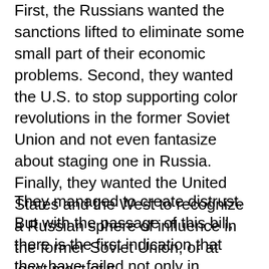First, the Russians wanted the sanctions lifted to eliminate some small part of their economic problems. Second, they wanted the U.S. to stop supporting color revolutions in the former Soviet Union and not even fantasize about staging one in Russia. Finally, they wanted the United States and the West to recognize a Russian sphere of influence in the former Soviet Union, or at least most of it.
They managed to create distrust. But with the passage of this bill, there is the first indication that they have failed not only in permanently destabilizing the United States but also in achieving their foreign policy goals. Instead, they generated a massive systemic backlash, with the House voting overwhelmingly for the bill and Trump having no